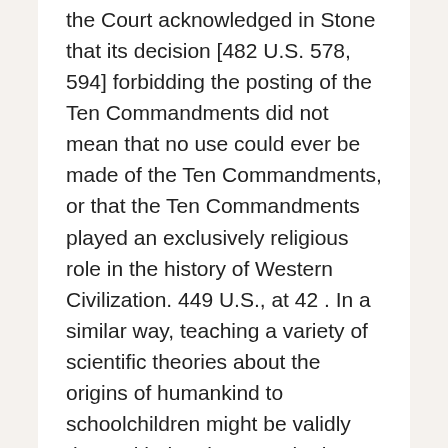the Court acknowledged in Stone that its decision [482 U.S. 578, 594] forbidding the posting of the Ten Commandments did not mean that no use could ever be made of the Ten Commandments, or that the Ten Commandments played an exclusively religious role in the history of Western Civilization. 449 U.S., at 42 . In a similar way, teaching a variety of scientific theories about the origins of humankind to schoolchildren might be validly done with the clear secular intent of enhancing the effectiveness of science instruction. But because the primary purpose of the Creationism Act is to endorse a